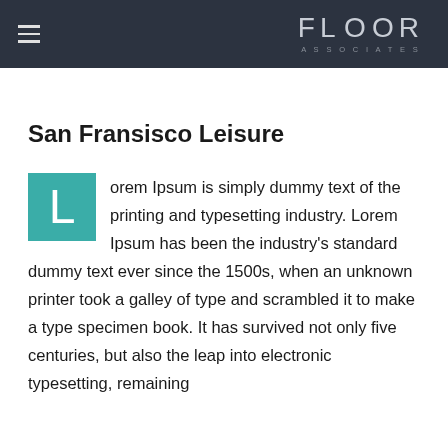FLOOR ASSOCIATES
San Fransisco Leisure
Lorem Ipsum is simply dummy text of the printing and typesetting industry. Lorem Ipsum has been the industry's standard dummy text ever since the 1500s, when an unknown printer took a galley of type and scrambled it to make a type specimen book. It has survived not only five centuries, but also the leap into electronic typesetting, remaining